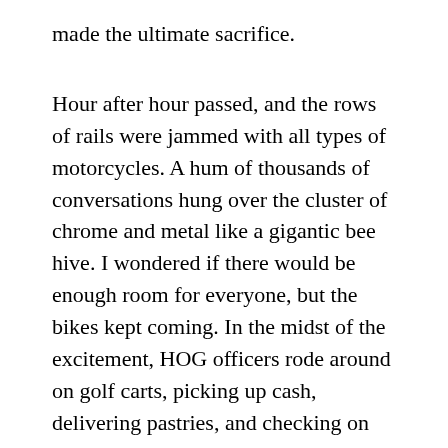made the ultimate sacrifice.
Hour after hour passed, and the rows of rails were jammed with all types of motorcycles. A hum of thousands of conversations hung over the cluster of chrome and metal like a gigantic bee hive. I wondered if there would be enough room for everyone, but the bikes kept coming. In the midst of the excitement, HOG officers rode around on golf carts, picking up cash, delivering pastries, and checking on us.
Finally, we got the signal to shut down and join the party. Frank fired up our bike and we circled around the block to find the end of the prepaid riders' line. At first I thought we would take off right away, but this was the next stage of